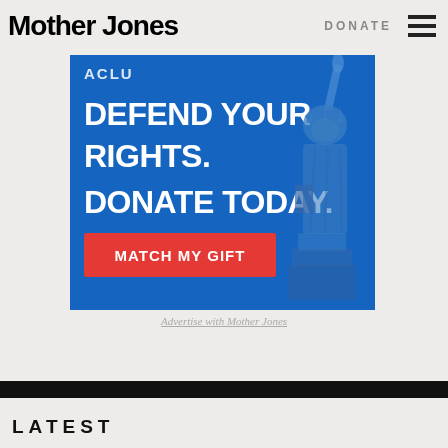Mother Jones  DONATE
[Figure (illustration): ACLU advertisement banner with blue background showing text 'DEFEND YOUR RIGHTS. DONATE TODAY.' with a red 'MATCH MY GIFT' button and Statue of Liberty silhouette on the right side.]
Advertise with Mother Jones
LATEST